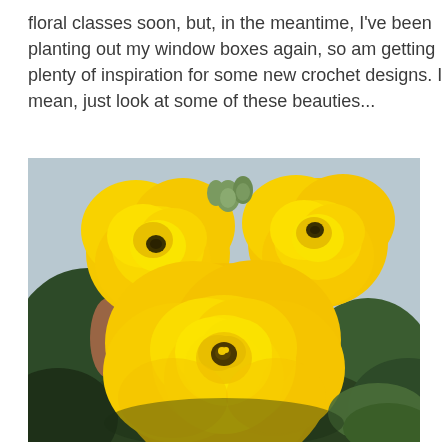floral classes soon, but, in the meantime, I've been planting out my window boxes again, so am getting plenty of inspiration for some new crochet designs. I mean, just look at some of these beauties...
[Figure (photo): Close-up photograph of several large bright yellow ranunculus flowers with layered petals, green buds, and dark green leaves in the background.]